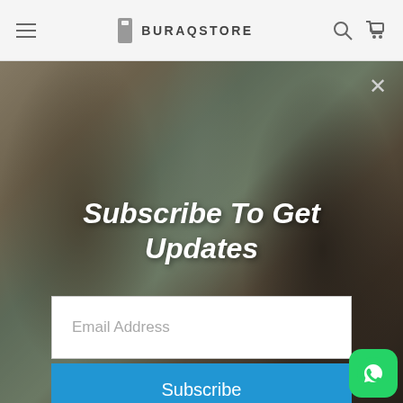BURAQSTORE
[Figure (photo): Fashion photo showing women in traditional South Asian clothing in a living room setting]
Subscribe To Get Updates
Email Address
Subscribe
Email Address